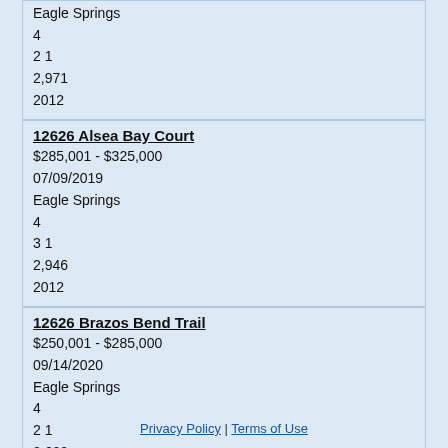Eagle Springs
4
2 1
2,971
2012
12626 Alsea Bay Court
$285,001 - $325,000
07/09/2019
Eagle Springs
4
3 1
2,946
2012
12626 Brazos Bend Trail
$250,001 - $285,000
09/14/2020
Eagle Springs
4
2 1
2,620
2003
Privacy Policy | Terms of Use